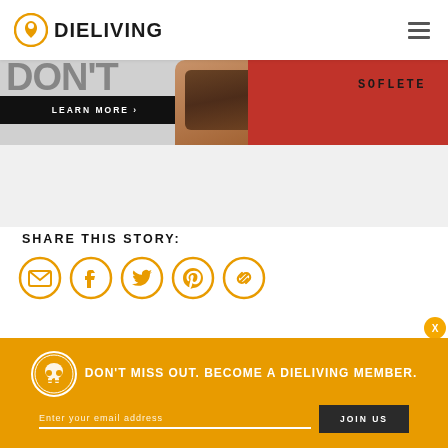DIELIVING
[Figure (photo): Hero banner with text 'DON'T' partially visible, LEARN MORE button, tattooed arm, and red SOFLETE shirt on right side]
SHARE THIS STORY:
[Figure (illustration): Five orange circle social sharing icons: email, Facebook, Twitter, Pinterest, link/copy]
[Figure (infographic): Orange membership banner: skull logo, text DON'T MISS OUT. BECOME A DIELIVING MEMBER., email input field, JOIN US button]